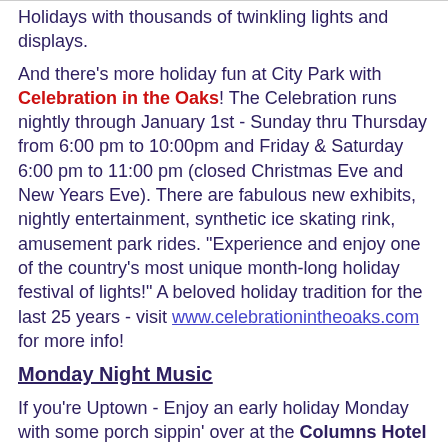Holidays with thousands of twinkling lights and displays. And there's more holiday fun at City Park with Celebration in the Oaks! The Celebration runs nightly through January 1st - Sunday thru Thursday from 6:00 pm to 10:00pm and Friday & Saturday 6:00 pm to 11:00 pm (closed Christmas Eve and New Years Eve). There are fabulous new exhibits, nightly entertainment, synthetic ice skating rink, amusement park rides. "Experience and enjoy one of the country's most unique month-long holiday festival of lights!" A beloved holiday tradition for the last 25 years - visit www.celebrationintheoaks.com for more info!
Monday Night Music
If you're Uptown - Enjoy an early holiday Monday with some porch sippin' over at the Columns Hotel (3811 St. Charles)....Tonight David Doucet of Beausoleil fame performs at 8:00 pm tonight!
Head on down to Mid-City and to the Banks Street Bar (4401 Banks) about 10:00 pm for the N'awlins Johnnys and FREE red beans tonight!